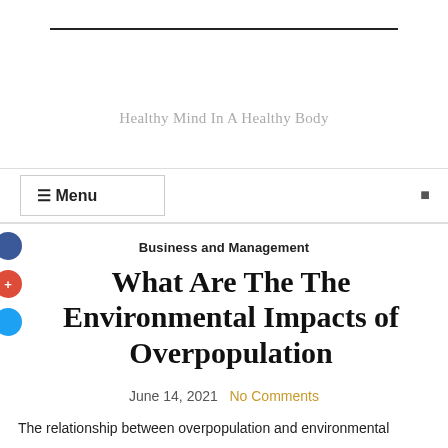Healthy Mind In A Healthy Body
☰ Menu
Business and Management
What Are The The Environmental Impacts of Overpopulation
June 14, 2021  No Comments
The relationship between overpopulation and environmental